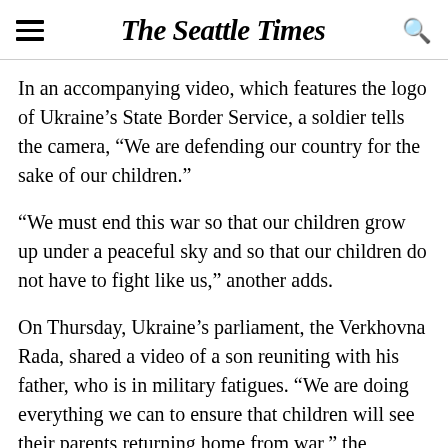The Seattle Times
In an accompanying video, which features the logo of Ukraine's State Border Service, a soldier tells the camera, “We are defending our country for the sake of our children.”
“We must end this war so that our children grow up under a peaceful sky and so that our children do not have to fight like us,” another adds.
On Thursday, Ukraine’s parliament, the Verkhovna Rada, shared a video of a son reuniting with his father, who is in military fatigues. “We are doing everything we can to ensure that children will see their parents returning home from war,” the parliament’s caption said.